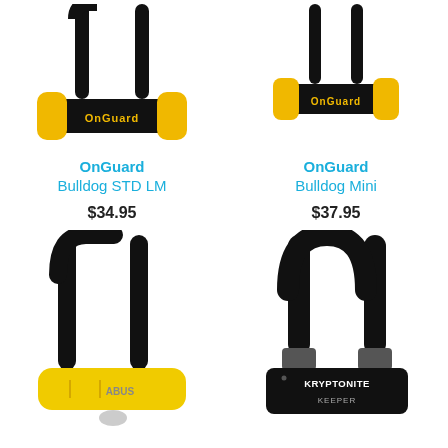[Figure (photo): OnGuard Bulldog STD LM U-lock with yellow and black crossbar]
OnGuard
Bulldog STD LM
$34.95
[Figure (photo): OnGuard Bulldog Mini U-lock with yellow and black crossbar]
OnGuard
Bulldog Mini
$37.95
[Figure (photo): ABUS U-lock with yellow crossbar and black shackle]
ABUS
[Figure (photo): Kryptonite Keeper U-lock, all black]
Kryptonite